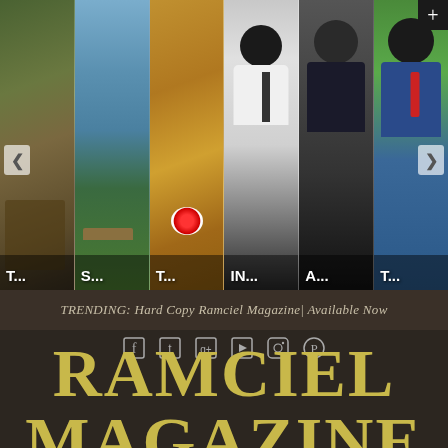[Figure (photo): Magazine website screenshot showing a horizontal image carousel strip with 6 photo panels: 1) people at a market with basket (T...), 2) lake/water scene with boat (S...), 3) decorative table with flowers (T...), 4) man in suit at desk (IN...), 5) man in dark suit (A...), 6) man in blue suit with red tie (T...). Navigation arrows on left and right sides.]
TRENDING: Hard Copy Ramciel Magazine| Available Now
[Figure (infographic): Row of 6 social media icons: Facebook, Twitter, Google+, YouTube, Instagram, Pinterest]
RAMCIEL MAGAZINE